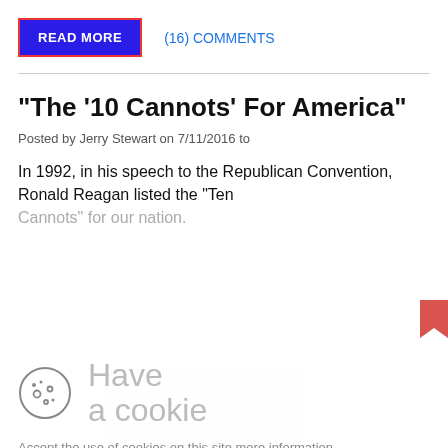READ MORE
(16) COMMENTS
"The '10 Cannots' For America"
Posted by Jerry Stewart on 7/11/2016 to
In 1992, in his speech to the Republican Convention, Ronald Reagan listed the "Ten Cannots" for our nation.
[Figure (screenshot): Cookie consent overlay with cookie icon, 'Have a cookie' heading, acceptance text and link, and 'I Accept' button in red/orange]
I Accept